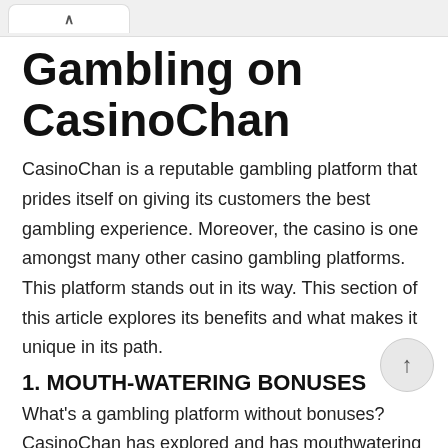Gambling on CasinoChan
CasinoChan is a reputable gambling platform that prides itself on giving its customers the best gambling experience. Moreover, the casino is one amongst many other casino gambling platforms. This platform stands out in its way. This section of this article explores its benefits and what makes it unique in its path.
1. MOUTH-WATERING BONUSES
What's a gambling platform without bonuses? CasinoChan has explored and has mouthwatering perks to offer to its new and old customers. This bonus is a way of